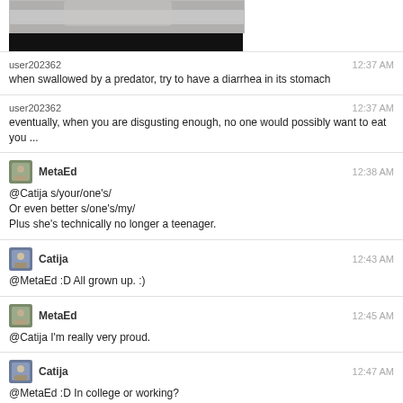[Figure (screenshot): Chat screenshot with a photo at top (partially visible) and a black redacted bar below it]
user202362   12:37 AM
when swallowed by a predator, try to have a diarrhea in its stomach
user202362   12:37 AM
eventually, when you are disgusting enough, no one would possibly want to eat you ...
MetaEd   12:38 AM
@Catija s/your/one's/
Or even better s/one's/my/
Plus she's technically no longer a teenager.
Catija   12:43 AM
@MetaEd :D All grown up. :)
MetaEd   12:45 AM
@Catija I'm really very proud.
Catija   12:47 AM
@MetaEd :D In college or working?
MetaEd   12:47 AM
@Catija Yes.